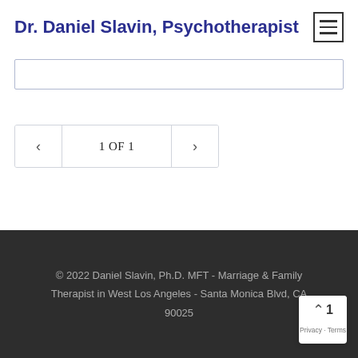Dr. Daniel Slavin, Psychotherapist
[Figure (screenshot): Hamburger menu icon button with three horizontal lines]
[Figure (screenshot): Search input box, empty]
1 OF 1
© 2022 Daniel Slavin, Ph.D. MFT - Marriage & Family Therapist in West Los Angeles - Santa Monica Blvd, CA 90025